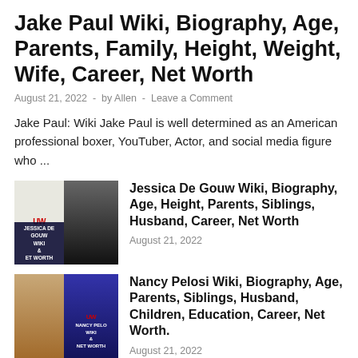Jake Paul Wiki, Biography, Age, Parents, Family, Height, Weight, Wife, Career, Net Worth
August 21, 2022  -  by Allen  -  Leave a Comment
Jake Paul: Wiki Jake Paul is well determined as an American professional boxer, YouTuber, Actor, and social media figure who ...
[Figure (photo): Thumbnail image for Jessica De Gouw Wiki article, showing a woman in a black outfit with a wiki logo overlay]
Jessica De Gouw Wiki, Biography, Age, Height, Parents, Siblings, Husband, Career, Net Worth
August 21, 2022
[Figure (photo): Thumbnail image for Nancy Pelosi Wiki article, showing a woman with a purple background and wiki logo overlay]
Nancy Pelosi Wiki, Biography, Age, Parents, Siblings, Husband, Children, Education, Career, Net Worth.
August 21, 2022